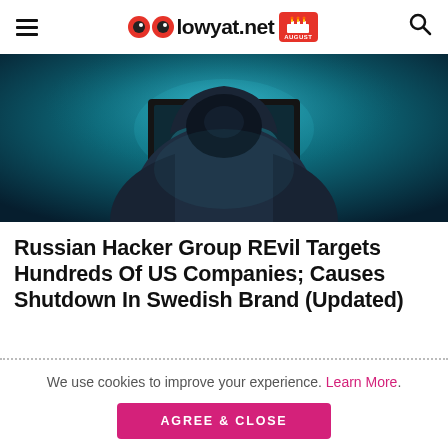lowyat.net
[Figure (photo): Person in hoodie sitting behind a laptop, dark teal/blue dramatic lighting, cybersecurity themed image]
Russian Hacker Group REvil Targets Hundreds Of US Companies; Causes Shutdown In Swedish Brand (Updated)
We use cookies to improve your experience. Learn More.
AGREE & CLOSE